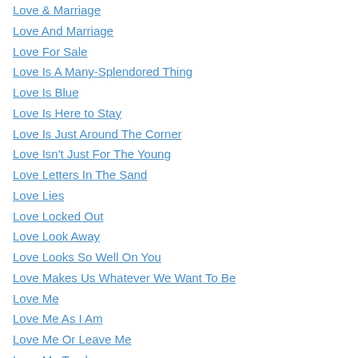Love & Marriage
Love And Marriage
Love For Sale
Love Is A Many-Splendored Thing
Love Is Blue
Love Is Here to Stay
Love Is Just Around The Corner
Love Isn't Just For The Young
Love Letters In The Sand
Love Lies
Love Locked Out
Love Look Away
Love Looks So Well On You
Love Makes Us Whatever We Want To Be
Love Me
Love Me As I Am
Love Me Or Leave Me
Love Me Tender
Love Means Love
Love This Is My Song